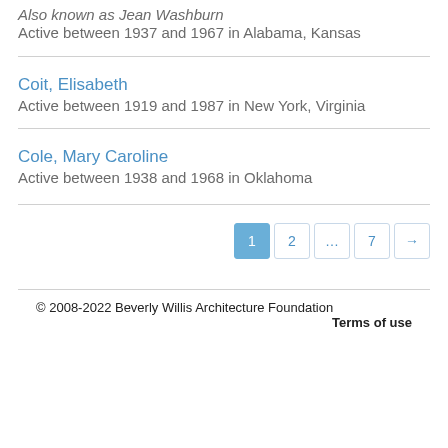Also known as Jean Washburn
Active between 1937 and 1967 in Alabama, Kansas
Coit, Elisabeth
Active between 1919 and 1987 in New York, Virginia
Cole, Mary Caroline
Active between 1938 and 1968 in Oklahoma
1 2 … 7 →
© 2008-2022 Beverly Willis Architecture Foundation
Terms of use